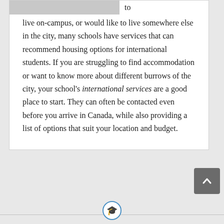[Figure (photo): Partial photo of a person in jeans standing on a light-colored floor, cropped at top]
to live on-campus, or would like to live somewhere else in the city, many schools have services that can recommend housing options for international students. If you are struggling to find accommodation or want to know more about different burrows of the city, your school's international services are a good place to start. They can often be contacted even before you arrive in Canada, while also providing a list of options that suit your location and budget.